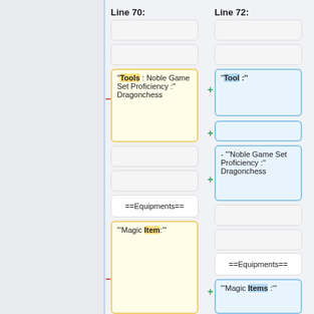Line 70:
Line 72:
[Figure (screenshot): Diff view comparing Line 70 and Line 72 of a wiki/text document. Line 70 shows a removed block with text: "'Tools : Noble Game Set Proficiency :'' Dragonchess". Line 72 shows added blocks: "'Tool :''", an empty block, and "- "'Noble Game Set Proficiency :"' Dragonchess". Below both columns are blank boxes, then ==Equipments== boxes, then partially visible "'Magic Item:'" and "'Magic Items :"' boxes.]